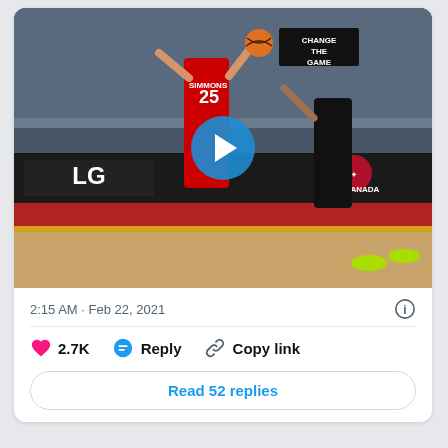[Figure (screenshot): Video thumbnail of an NBA basketball game showing player Simmons #25 in a red Philadelphia 76ers jersey going up for a shot or pass, with an opposing player in black defending. Air Canada and LG logos visible on courtside advertising boards. A blue play button overlay is shown in the center of the image.]
2:15 AM · Feb 22, 2021
2.7K  Reply  Copy link
Read 52 replies